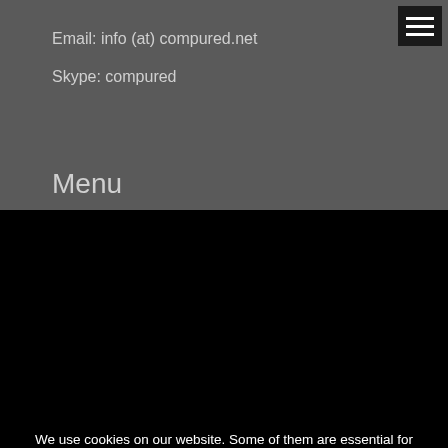Email: info (at) compured.net
Skype: compured
Menu
We use cookies on our website. Some of them are essential for the operation of the site, while others help us to improve this site and the user experience (tracking cookies). You can decide for yourself whether you want to allow cookies or not. Please note that if you reject them, you may not be able to use all the functionalities of the site.
Ok
Decline
More information